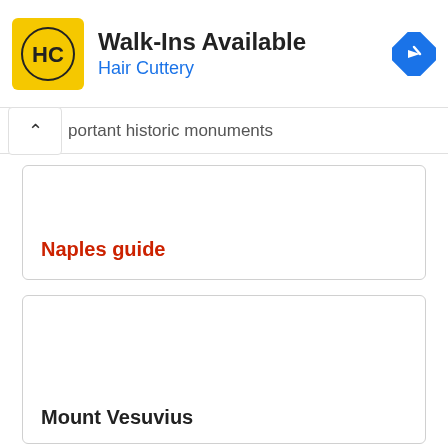[Figure (screenshot): Advertisement banner for Hair Cuttery: yellow logo with HC monogram, text 'Walk-Ins Available' and 'Hair Cuttery' in blue, blue diamond navigation icon on right]
portant historic monuments
Naples guide
Mount Vesuvius